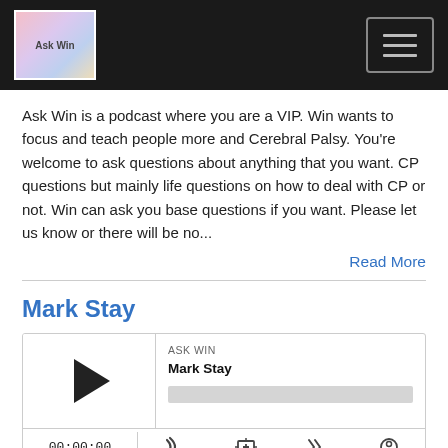[Figure (logo): Ask Win podcast logo in top-left of black header bar]
Ask Win is a podcast where you are a VIP. Win wants to focus and teach people more and Cerebral Palsy. You’re welcome to ask questions about anything that you want. CP questions but mainly life questions on how to deal with CP or not. Win can ask you base questions if you want. Please let us know or there will be no...
Read More
Mark Stay
[Figure (screenshot): Podcast audio player widget for episode 'Mark Stay' by ASK WIN showing play button, progress bar, timestamp 00:00:00, and control icons]
Jan 30, 2019
Ask Win is a podcast where you are a VIP. Win wants to focus